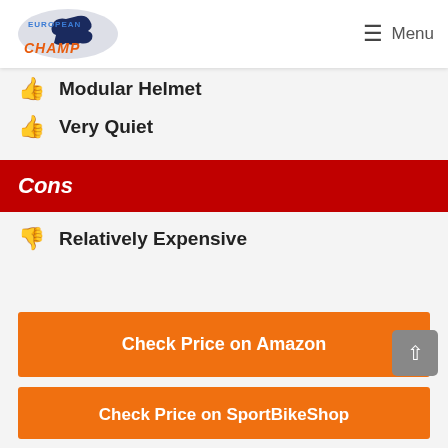European Champ — Menu
Modular Helmet
Very Quiet
Cons
Relatively Expensive
Check Price on Amazon
Check Price on SportBikeShop